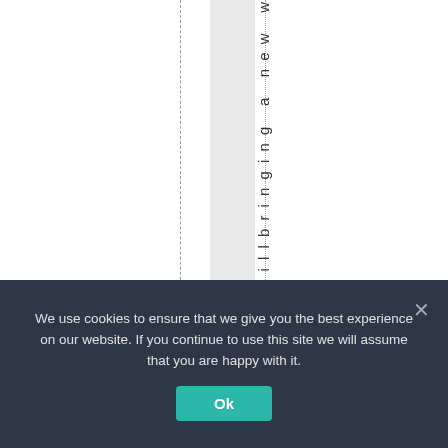[Figure (other): Document page background with vertical dashed/dotted lines, a light gray column band, and rotated text reading 'clewillbringing a new w' vertically]
We use cookies to ensure that we give you the best experience on our website. If you continue to use this site we will assume that you are happy with it. Ok